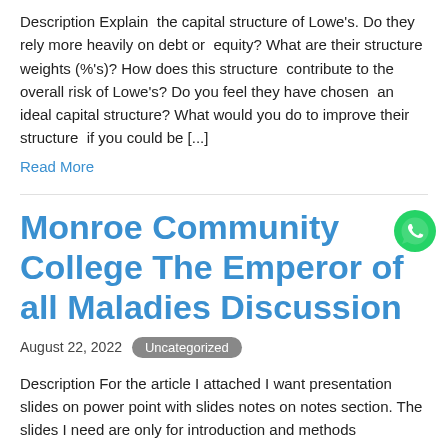Description Explain the capital structure of Lowe's. Do they rely more heavily on debt or equity? What are their structure weights (%'s)? How does this structure contribute to the overall risk of Lowe's? Do you feel they have chosen an ideal capital structure? What would you do to improve their structure if you could be [...]
Read More
[Figure (logo): WhatsApp green circular icon]
Monroe Community College The Emperor of all Maladies Discussion
August 22, 2022   Uncategorized
Description For the article I attached I want presentation slides on power point with slides notes on notes section. The slides I need are only for introduction and methods